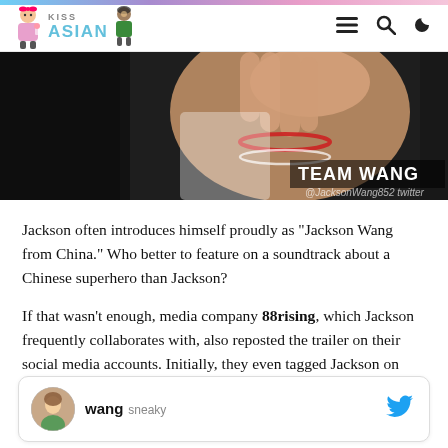KISS ASIAN
[Figure (photo): Close-up photo of a person's arm/hand with bracelets including a red string bracelet, against a dark background. TEAM WANG text overlay and @JacksonWang852 Twitter watermark visible.]
Jackson often introduces himself proudly as “Jackson Wang from China.” Who better to feature on a soundtrack about a Chinese superhero than Jackson?
If that wasn’t enough, media company 88rising, which Jackson frequently collaborates with, also reposted the trailer on their social media accounts. Initially, they even tagged Jackson on Instagram but soon removed it.
[Figure (screenshot): Tweet card showing user 'wang' with handle 'sneaky' and a Twitter bird icon on the right side.]